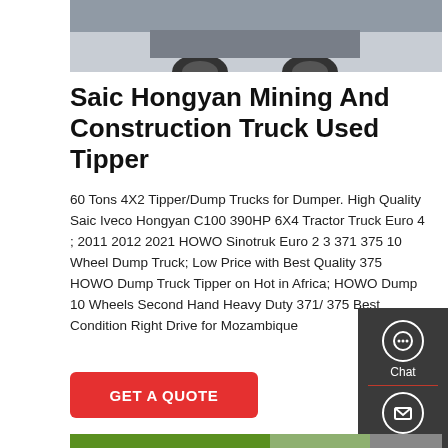[Figure (photo): Top portion of a truck/vehicle photo, partially cropped, grey surface background]
Saic Hongyan Mining And Construction Truck Used Tipper
60 Tons 4X2 Tipper/Dump Trucks for Dumper. High Quality Saic Iveco Hongyan C100 390HP 6X4 Tractor Truck Euro 4 ; 2011 2012 2021 HOWO Sinotruk Euro 2 3 371 375 10 Wheel Dump Truck; Low Price with Best Quality 375 HOWO Dump Truck Tipper on Hot in Africa; HOWO Dump 10 Wheels Second Hand Heavy Duty 371/ 375 Best Condition Right Drive for Mozambique
[Figure (infographic): Side panel with Chat, Email, and Contact icons on dark grey background]
[Figure (photo): GET A QUOTE button in red]
[Figure (photo): Bottom photo showing a green Saic Hongyan truck, partially cropped]